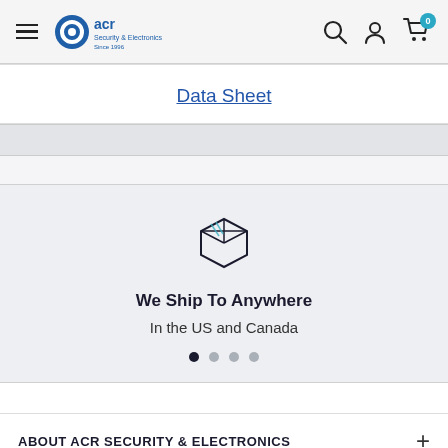ACR Security & Electronics - Navigation header with hamburger menu, logo, search, account, and cart icons
Data Sheet
[Figure (illustration): Package/box icon line drawing with teal/blue diagonal stripes on top face]
We Ship To Anywhere
In the US and Canada
ABOUT ACR SECURITY & ELECTRONICS